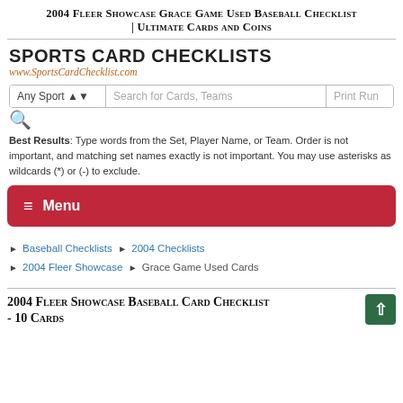2004 Fleer Showcase Grace Game Used Baseball Checklist | Ultimate Cards and Coins
SPORTS CARD CHECKLISTS
www.SportsCardChecklist.com
[Figure (screenshot): Search bar with Any Sport dropdown, Search for Cards Teams text input, and Print Run field]
Best Results: Type words from the Set, Player Name, or Team. Order is not important, and matching set names exactly is not important. You may use asterisks as wildcards (*) or (-) to exclude.
≡ Menu
Baseball Checklists > 2004 Checklists
2004 Fleer Showcase > Grace Game Used Cards
2004 Fleer Showcase Baseball Card Checklist - 10 Cards